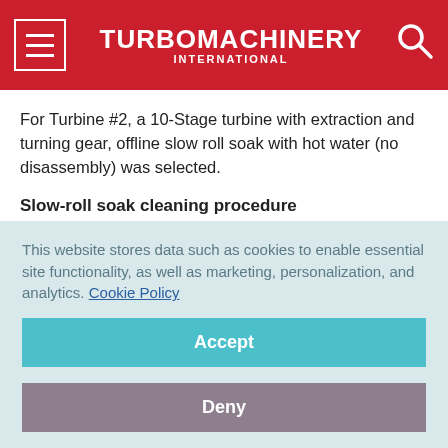TURBOMACHINERY INTERNATIONAL
For Turbine #2, a 10-Stage turbine with extraction and turning gear, offline slow roll soak with hot water (no disassembly) was selected.
Slow-roll soak cleaning procedure
1. Develop plan for measuring conductivity (hardness) of water exiting turbine
This website stores data such as cookies to enable essential site functionality, as well as marketing, personalization, and analytics. Cookie Policy
Accept
Deny